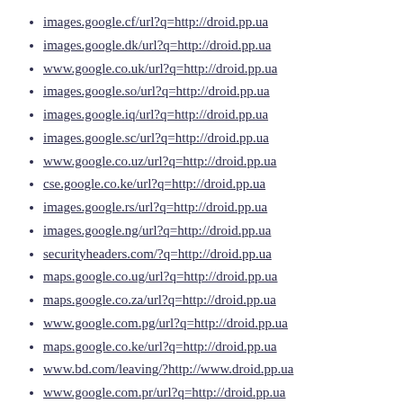images.google.cf/url?q=http://droid.pp.ua
images.google.dk/url?q=http://droid.pp.ua
www.google.co.uk/url?q=http://droid.pp.ua
images.google.so/url?q=http://droid.pp.ua
images.google.iq/url?q=http://droid.pp.ua
images.google.sc/url?q=http://droid.pp.ua
www.google.co.uz/url?q=http://droid.pp.ua
cse.google.co.ke/url?q=http://droid.pp.ua
images.google.rs/url?q=http://droid.pp.ua
images.google.ng/url?q=http://droid.pp.ua
securityheaders.com/?q=http://droid.pp.ua
maps.google.co.ug/url?q=http://droid.pp.ua
maps.google.co.za/url?q=http://droid.pp.ua
www.google.com.pg/url?q=http://droid.pp.ua
maps.google.co.ke/url?q=http://droid.pp.ua
www.bd.com/leaving/?http://www.droid.pp.ua
www.google.com.pr/url?q=http://droid.pp.ua
maps.google.co.mz/url?q=http://droid.pp.ua
www.google.com.vn/url?q=http://droid.pp.ua